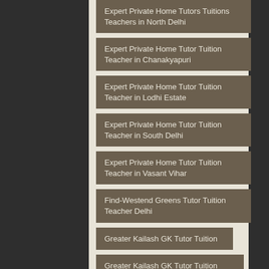Expert Private Home Tutors Tuitions Teachers in North Delhi
Expert Private Home Tutor Tuition Teacher in Chanakyapuri
Expert Private Home Tutor Tuition Teacher in Lodhi Estate
Expert Private Home Tutor Tuition Teacher in South Delhi
Expert Private Home Tutor Tuition Teacher in Vasant Vihar
Find-Westend Greens Tutor Tuition Teacher Delhi
Greater Kailash GK Tutor Tuition
Greater Kailash GK Tutor Tuition Biology
Greater Kailash GK Tutor Tuition Chemistry
Greater Kailash GK Tutor Tuition